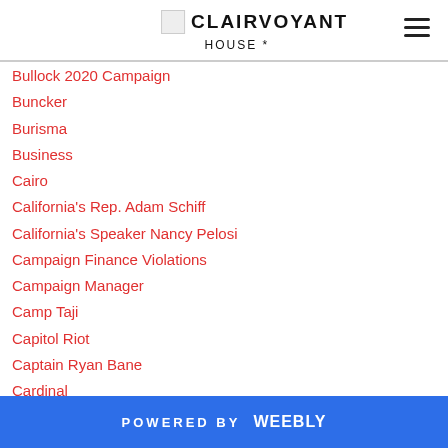CLAIRVOYANT
Bullock 2020 Campaign
Buncker
Burisma
Business
Cairo
California's Rep. Adam Schiff
California's Speaker Nancy Pelosi
Campaign Finance Violations
Campaign Manager
Camp Taji
Capitol Riot
Captain Ryan Bane
Cardinal
Cardinal Pietro Parolin
Castrodad
POWERED BY weebly